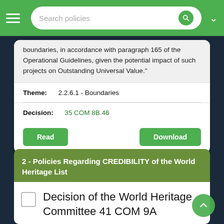Search policies
boundaries, in accordance with paragraph 165 of the Operational Guidelines, given the potential impact of such projects on Outstanding Universal Value."
| Theme: | 2.2.6.1 - Boundaries |
| Decision: | 35 COM 8B.46 |
2 - Policies Regarding CREDIBILITY of the World Heritage List
Decision of the World Heritage Committee 41 COM 9A